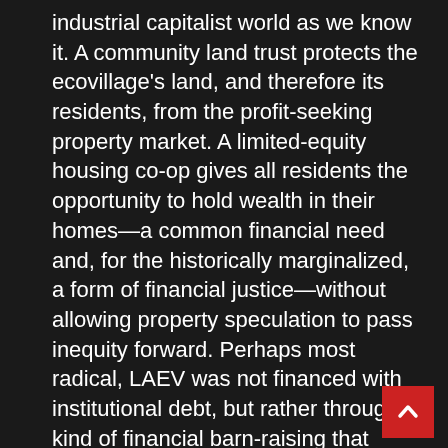industrial capitalist world as we know it. A community land trust protects the ecovillage's land, and therefore its residents, from the profit-seeking property market. A limited-equity housing co-op gives all residents the opportunity to hold wealth in their homes—a common financial need and, for the historically marginalized, a form of financial justice—without allowing property speculation to pass inequity forward. Perhaps most radical, LAEV was not financed with institutional debt, but rather through a kind of financial barn-raising that involved hundreds of individuals lending modest amounts to support the cause.
Of all the ecovillages one could photograph, Los Angeles is perhaps the last one you'd pick for a glossy magazine. There are no architect-designed eco-buildings. It is not surrounded by lush forest. Its deepest beauty is in the diversity of its people and